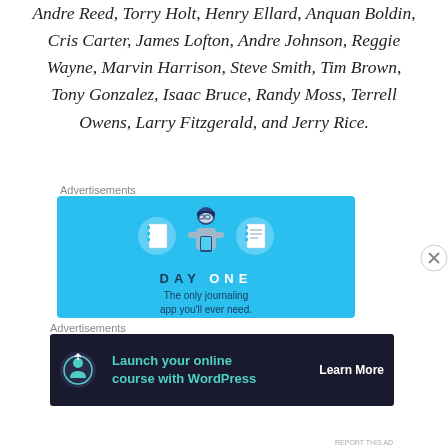Andre Reed, Torry Holt, Henry Ellard, Anquan Boldin, Cris Carter, James Lofton, Andre Johnson, Reggie Wayne, Marvin Harrison, Steve Smith, Tim Brown, Tony Gonzalez, Isaac Bruce, Randy Moss, Terrell Owens, Larry Fitzgerald, and Jerry Rice.
Advertisements
[Figure (illustration): Day One app advertisement. Blue background with cartoon illustration of a person holding a phone, flanked by two notebook icons in circles. Text reads DAY ONE - The only journaling app you'll ever need.]
Advertisements
[Figure (illustration): WordPress advertisement on dark background. Icon of a person with a tree/upload symbol. Teal text: Launch your online course with WordPress. White bold text: Learn More.]